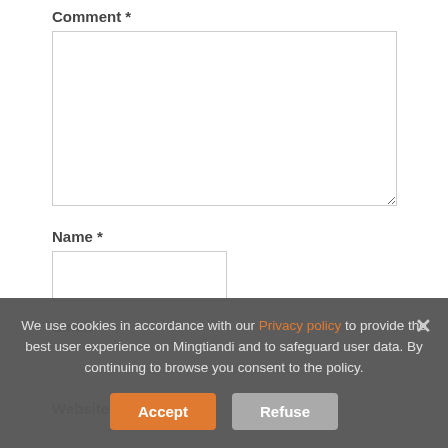Comment *
[Figure (screenshot): Comment textarea form field, empty, with resize handle]
Name *
[Figure (screenshot): Name text input field, empty]
Email *
We use cookies in accordance with our Privacy policy to provide the best user experience on Mingtiandi and to safeguard user data. By continuing to browse you consent to the policy.
Accept
Refuse
Website